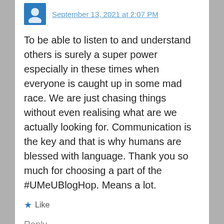September 13, 2021 at 2:07 PM
To be able to listen to and understand others is surely a super power especially in these times when everyone is caught up in some mad race. We are just chasing things without even realising what are we actually looking for. Communication is the key and that is why humans are blessed with language. Thank you so much for choosing a part of the #UMeUBlogHop. Means a lot.
Like
Reply